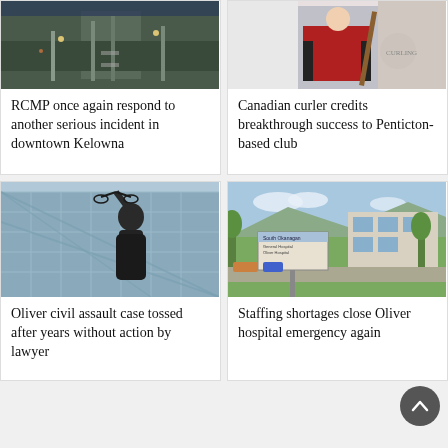[Figure (photo): Aerial view of downtown road/street at night or dusk]
RCMP once again respond to another serious incident in downtown Kelowna
[Figure (photo): Canadian curler in red and black uniform holding a broom]
Canadian curler credits breakthrough success to Penticton-based club
[Figure (photo): Statue of Lady Justice holding scales against a glass building]
Oliver civil assault case tossed after years without action by lawyer
[Figure (photo): Exterior of Oliver hospital with sign and lawn]
Staffing shortages close Oliver hospital emergency again